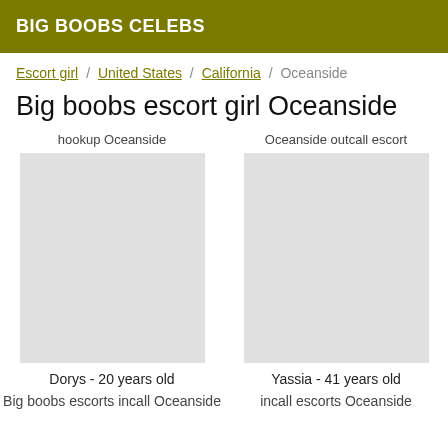BIG BOOBS CELEBS
Escort girl / United States / California / Oceanside
Big boobs escort girl Oceanside
hookup Oceanside
Oceanside outcall escort
[Figure (photo): Photo placeholder for Dorys]
[Figure (photo): Photo placeholder for Yassia]
Dorys - 20 years old
Yassia - 41 years old
Big boobs escorts incall Oceanside
incall escorts Oceanside